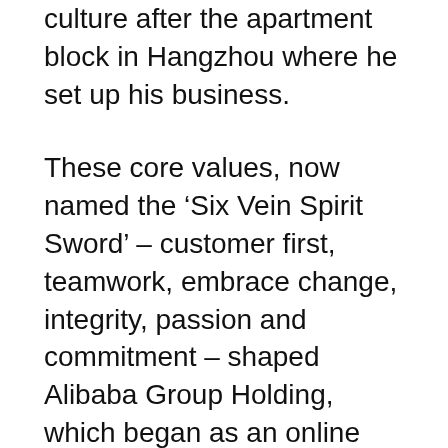culture after the apartment block in Hangzhou where he set up his business.
These core values, now named the ‘Six Vein Spirit Sword’ – customer first, teamwork, embrace change, integrity, passion and commitment – shaped Alibaba Group Holding, which began as an online bulletin board for companies in Ma’s Hupan Huayuan apartment complex in eastern China.
Alibaba’s aspirations helped it grow from just 18 employees to more than 20,000 today. Along the way, it knocked eBay Inc out of China and is now preparing for a US stock listing that could be the biggest tech IPO to date.
But its romanticism – and even cultishness – has sometimes sidelined the business reality, almost